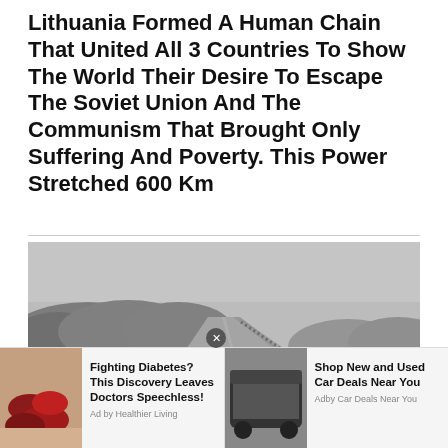Lithuania Formed A Human Chain That United All 3 Countries To Show The World Their Desire To Escape The Soviet Union And The Communism That Brought Only Suffering And Poverty. This Power Stretched 600 Km
[Figure (photo): Aerial black-and-white photograph of a highway through forested landscape with a long human chain of people lining the roadside, stretching into the distance.]
Fighting Diabetes? This Discovery Leaves Doctors Speechless! Ad by Healthier Living
Shop New and Used Car Deals Near You Adby Car Deals Near You